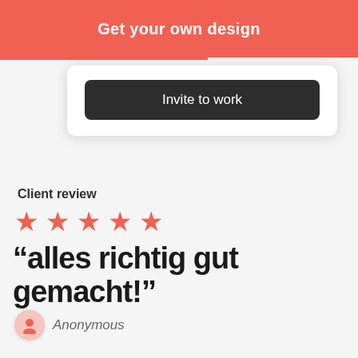Get your own design
Invite to work
Client review
★★★★★
“alles richtig gut gemacht!”
Anonymous